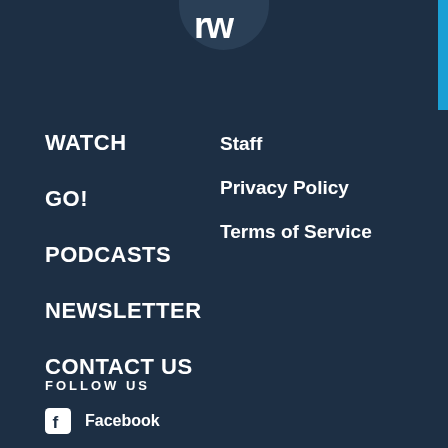[Figure (logo): Partial circular logo with stylized 'W' letters on dark blue background, cropped at top]
WATCH
GO!
PODCASTS
NEWSLETTER
CONTACT US
Staff
Privacy Policy
Terms of Service
FOLLOW US
Facebook
Twitter
YouTube